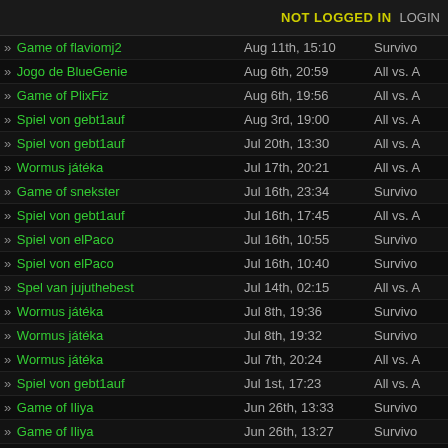NOT LOGGED IN  LOGIN
» Game of flaviomj2  Aug 11th, 15:10  Survivo
» Jogo de BlueGenie  Aug 6th, 20:59  All vs. A
» Game of PlixFiz  Aug 6th, 19:56  All vs. A
» Spiel von gebt1auf  Aug 3rd, 19:00  All vs. A
» Spiel von gebt1auf  Jul 20th, 13:30  All vs. A
» Wormus játéka  Jul 17th, 20:21  All vs. A
» Game of snekster  Jul 16th, 23:34  Survivo
» Spiel von gebt1auf  Jul 16th, 17:45  All vs. A
» Spiel von elPaco  Jul 16th, 10:55  Survivo
» Spiel von elPaco  Jul 16th, 10:40  Survivo
» Spel van jujuthebest  Jul 14th, 02:15  All vs. A
» Wormus játéka  Jul 8th, 19:36  Survivo
» Wormus játéka  Jul 8th, 19:32  Survivo
» Wormus játéka  Jul 7th, 20:24  All vs. A
» Spiel von gebt1auf  Jul 1st, 17:23  All vs. A
» Game of Iliya  Jun 26th, 13:33  Survivo
» Game of Iliya  Jun 26th, 13:27  Survivo
» Game of marrebarre  Jun 25th, 17:24  Survivo